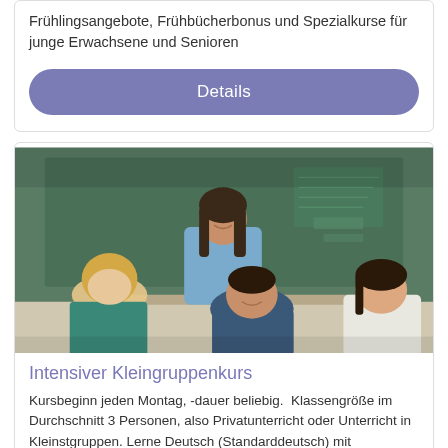Frühlingsangebote, Frühbücherbonus und Spezialkurse für junge Erwachsene und Senioren
[Figure (other): Button labeled 'Details' with rounded corners and purple/blue background]
[Figure (photo): Photo of a teacher standing behind three students who are looking down at a desk, in a classroom with a green chalkboard in the background]
Intensiver Kleingruppenkurs
Kursbeginn jeden Montag, -dauer beliebig.  Klassengröße im Durchschnitt 3 Personen, also Privatunterricht oder Unterricht in Kleinstgruppen. Lerne Deutsch (Standarddeutsch) mit österreichischen und deutschen